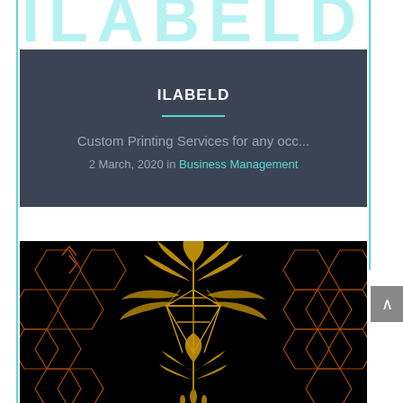ILABELD
ILABELD
Custom Printing Services for any occ...
2 March, 2020 in Business Management
[Figure (illustration): Cannabis leaf and diamond gem logo illustration on black background with orange hexagonal grid pattern]